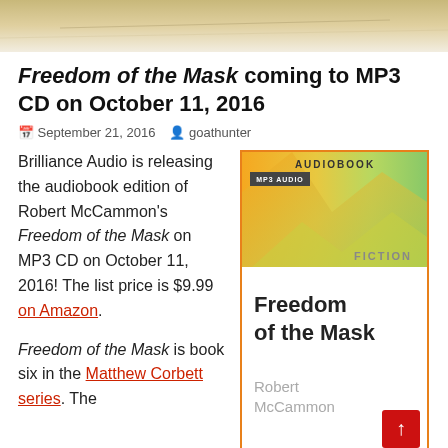[Figure (photo): Page header decorative banner with a beige/tan textured background]
Freedom of the Mask coming to MP3 CD on October 11, 2016
September 21, 2016  goathunter
Brilliance Audio is releasing the audiobook edition of Robert McCammon's Freedom of the Mask on MP3 CD on October 11, 2016! The list price is $9.99 on Amazon.
[Figure (photo): Audiobook cover for Freedom of the Mask by Robert McCammon. Orange-bordered cover with colorful geometric polygon art, AUDIOBOOK and MP3 AUDIO labels, FICTION label, large bold title text Freedom of the Mask, author name Robert McCammon in gray.]
Freedom of the Mask is book six in the Matthew Corbett series. The